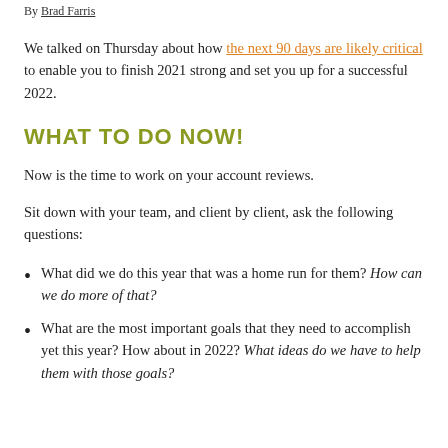By Brad Farris
We talked on Thursday about how the next 90 days are likely critical to enable you to finish 2021 strong and set you up for a successful 2022.
WHAT TO DO NOW!
Now is the time to work on your account reviews.
Sit down with your team, and client by client, ask the following questions:
What did we do this year that was a home run for them? How can we do more of that?
What are the most important goals that they need to accomplish yet this year? How about in 2022? What ideas do we have to help them with those goals?